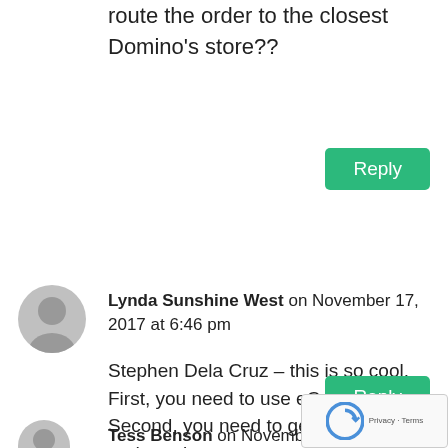route the order to the closest Domino's store??
Reply
Lynda Sunshine West on November 17, 2017 at 6:46 pm
Stephen Dela Cruz – this is so cool. First, you need to use eCamm. Second, you need to get a bot up and running.
Reply
Tess Benson on November 17, 2017 at 6:4…